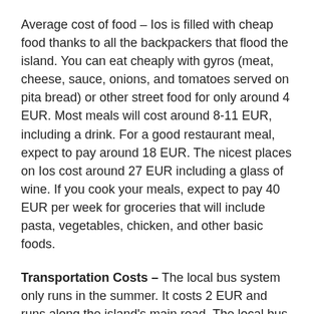Average cost of food – Ios is filled with cheap food thanks to all the backpackers that flood the island. You can eat cheaply with gyros (meat, cheese, sauce, onions, and tomatoes served on pita bread) or other street food for only around 4 EUR. Most meals will cost around 8-11 EUR, including a drink. For a good restaurant meal, expect to pay around 18 EUR. The nicest places on Ios cost around 27 EUR including a glass of wine. If you cook your meals, expect to pay 40 EUR per week for groceries that will include pasta, vegetables, chicken, and other basic foods.
Transportation Costs – The local bus system only runs in the summer. It costs 2 EUR and runs along the island's main road. The local bus only runs until about 7pm after which you'll need to take a taxi. More common for transportation are ATVs. You can rent ATVs for about 15-40 EUR per day to get to the beaches and parts of the island further afield.